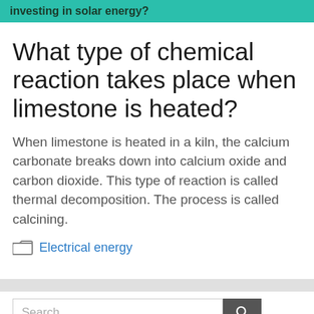investing in solar energy?
What type of chemical reaction takes place when limestone is heated?
When limestone is heated in a kiln, the calcium carbonate breaks down into calcium oxide and carbon dioxide. This type of reaction is called thermal decomposition. The process is called calcining.
Electrical energy